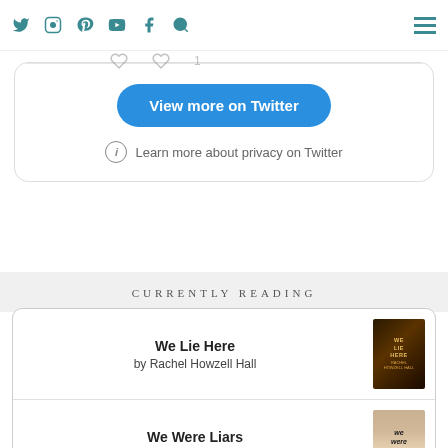Social media navigation bar with icons: Twitter, Instagram, Pinterest, YouTube, Facebook, Search, and hamburger menu
[Figure (screenshot): Twitter embedded widget card with 'View more on Twitter' button and privacy info link]
CURRENTLY READING
We Lie Here by Rachel Howzell Hall
We Were Liars by E. Lockhart